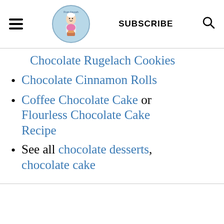[hamburger menu] [From Aayush logo] SUBSCRIBE [search icon]
Chocolate Rugelach Cookies
Chocolate Cinnamon Rolls
Coffee Chocolate Cake or Flourless Chocolate Cake Recipe
See all chocolate desserts, chocolate cake